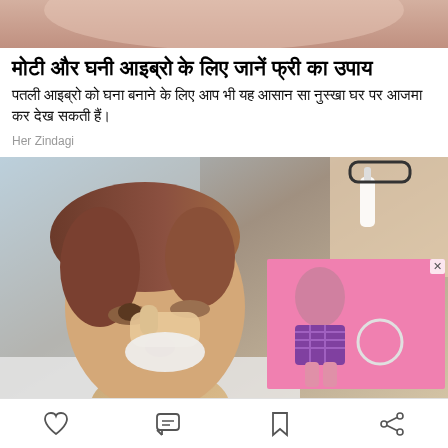[Figure (photo): Cropped top portion of a person's face/skin, pink/skin-tone background]
मोटी और घनी आइब्रो के लिए जानें फ्री का उपाय
पतली आइब्रो को घना बनाने के लिए आप भी यह आसान सा नुस्खा घर पर आजमा कर देख सकती हैं।
Her Zindagi
[Figure (photo): Main photo: Middle-aged woman receiving eye drops from a medical professional. An overlay thumbnail shows a woman in a pink-background outfit with a hoop, and an X close button.]